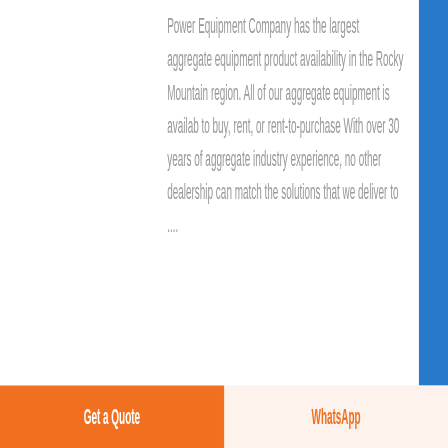Power Equipment Company has the largest aggregate equipment product availability in the Rocky Mountain region. All of our aggregate equipment is available to buy, rent, or rent-to-purchase With over 30 years of aggregate industry experience, no other dealership can match the solutions that we deliver to ....
[Figure (photo): Industrial crusher aggregate equipment at a facility]
SUPERIOR Crusher Aggregate Equipment For Sale - Know More
Browse our inventory of new and used SUPERIOR Crusher Aggregate Equipment For Sale near you at MachineryTrader
Get a Quote
WhatsApp